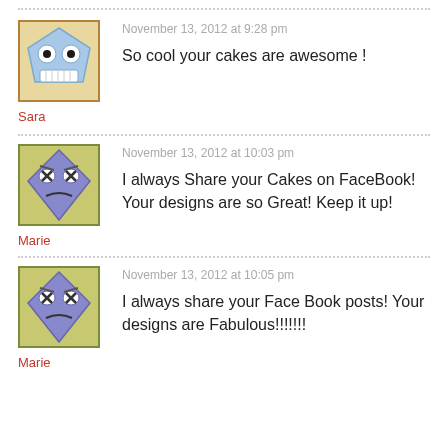[Figure (illustration): Avatar image of Sara - cartoon face with pentagon shape and teeth]
November 13, 2012 at 9:28 pm
So cool your cakes are awesome !
Sara
[Figure (illustration): Avatar image of Marie - cartoon face with diamond shape and grumpy expression]
November 13, 2012 at 10:03 pm
I always Share your Cakes on FaceBook! Your designs are so Great! Keep it up!
Marie
[Figure (illustration): Avatar image of Marie - same cartoon face with diamond shape and grumpy expression]
November 13, 2012 at 10:05 pm
I always share your Face Book posts! Your designs are Fabulous!!!!!!!
Marie